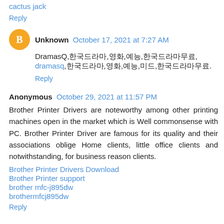cactus jack
Reply
Unknown  October 17, 2021 at 7:27 AM
DramasQ,한국드라마,영화,예능,한국드라마무료, dramasq,한국드라마,영화,예능,미드,한국드라마무료.
Reply
Anonymous  October 29, 2021 at 11:57 PM
Brother Printer Drivers are noteworthy among other printing machines open in the market which is Well commonsense with PC. Brother Printer Driver are famous for its quality and their associations oblige Home clients, little office clients and notwithstanding, for business reason clients.
Brother Printer Drivers Download
Brother Printer support
brother mfc-j895dw
brothermfcj895dw
Reply